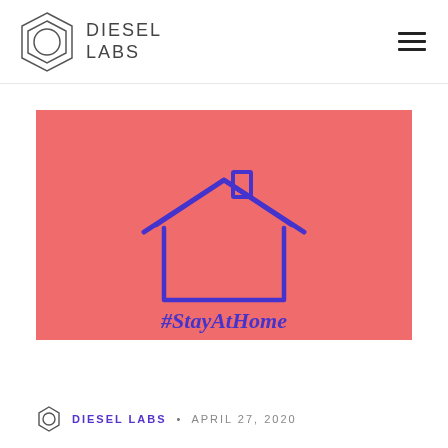DIESEL LABS
[Figure (illustration): Coral/salmon colored rectangle with a hand-drawn purple house outline and the text '#StayAtHome' written in purple brush-style lettering below the house drawing.]
DIESEL LABS • APRIL 27, 2020